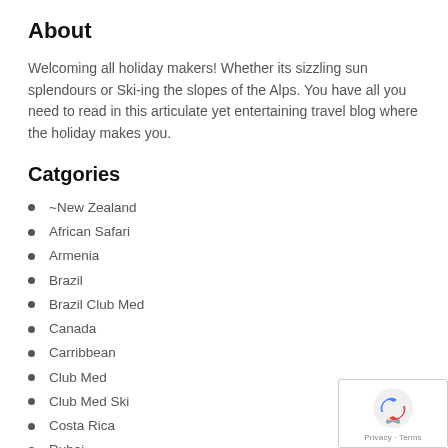About
Welcoming all holiday makers! Whether its sizzling sun splendours or Ski-ing the slopes of the Alps. You have all you need to read in this articulate yet entertaining travel blog where the holiday makes you.
Catgories
~New Zealand
African Safari
Armenia
Brazil
Brazil Club Med
Canada
Carribbean
Club Med
Club Med Ski
Costa Rica
Dubai
[Figure (logo): reCAPTCHA badge with Privacy and Terms links]